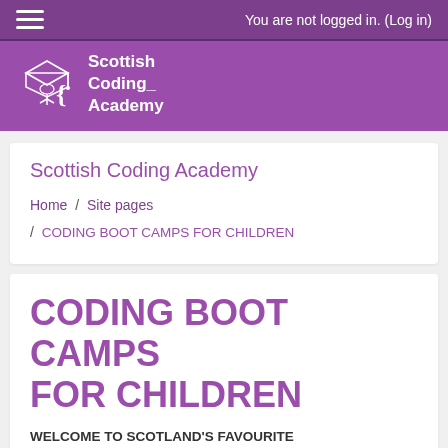You are not logged in. (Log in)
[Figure (logo): Scottish Coding Academy logo with graduation cap and curly brace icon]
Scottish Coding Academy
Home / Site pages / CODING BOOT CAMPS FOR CHILDREN
CODING BOOT CAMPS FOR CHILDREN
WELCOME TO SCOTLAND'S FAVOURITE DIGITAL SKILLS ACADEMY FOR CHILDREN!